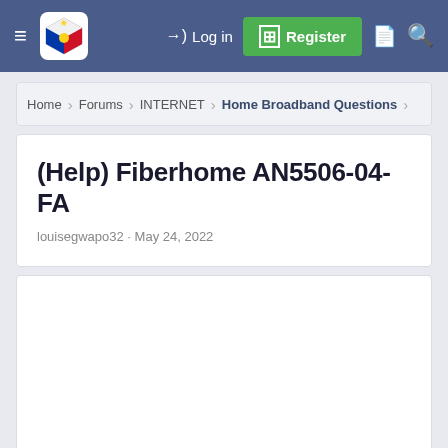≡  [logo]  →) Log in  [+] Register  [doc] [search]
Home › Forums › INTERNET › Home Broadband Questions
(Help) Fiberhome AN5506-04-FA
louisegwapo32 · May 24, 2022